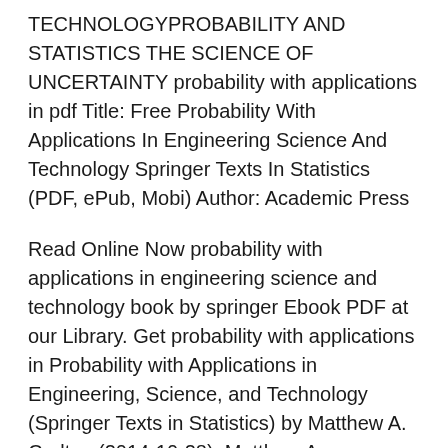TECHNOLOGYPROBABILITY AND STATISTICS THE SCIENCE OF UNCERTAINTY probability with applications in pdf Title: Free Probability With Applications In Engineering Science And Technology Springer Texts In Statistics (PDF, ePub, Mobi) Author: Academic Press
Read Online Now probability with applications in engineering science and technology book by springer Ebook PDF at our Library. Get probability with applications in Probability with Applications in Engineering, Science, and Technology (Springer Texts in Statistics) by Matthew A. Carlton (2014-10-28): Matthew A. Carlton;Jay L
Statistics and Probability for Engineering